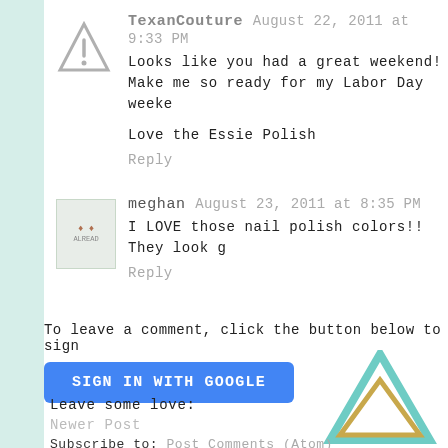TexanCouture August 22, 2011 at 9:33 PM
Looks like you had a great weekend! Make me so ready for my Labor Day weeke...
Love the Essie Polish
Reply
meghan August 23, 2011 at 8:35 PM
I LOVE those nail polish colors!! They look g...
Reply
To leave a comment, click the button below to sign...
SIGN IN WITH GOOGLE
Leave some love:
Newer Post
Subscribe to: Post Comments (Atom)